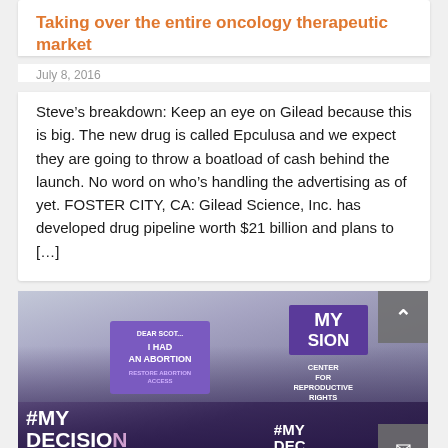Taking over the entire oncology therapeutic market
July 8, 2016
Steve's breakdown: Keep an eye on Gilead because this is big. The new drug is called Epculusa and we expect they are going to throw a boatload of cash behind the launch. No word on who's handling the advertising as of yet. FOSTER CITY, CA: Gilead Science, Inc. has developed drug pipeline worth $21 billion and plans to […]
[Figure (photo): Protesters holding signs including '#MY DECISION', 'I HAD AN ABORTION', and 'CENTER FOR REPRODUCTIVE RIGHTS' at a rally]